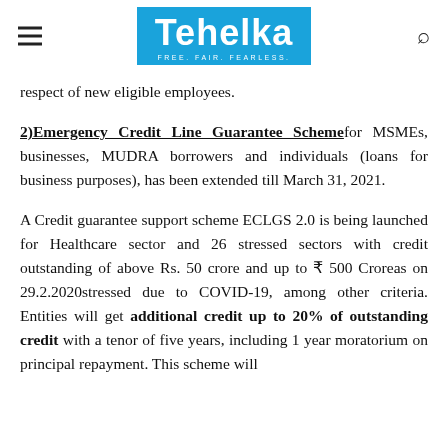Tehelka — FREE. FAIR. FEARLESS.
respect of new eligible employees.
2)Emergency Credit Line Guarantee Scheme for MSMEs, businesses, MUDRA borrowers and individuals (loans for business purposes), has been extended till March 31, 2021.
A Credit guarantee support scheme ECLGS 2.0 is being launched for Healthcare sector and 26 stressed sectors with credit outstanding of above Rs. 50 crore and up to ₹ 500 Croreas on 29.2.2020stressed due to COVID-19, among other criteria. Entities will get additional credit up to 20% of outstanding credit with a tenor of five years, including 1 year moratorium on principal repayment. This scheme will